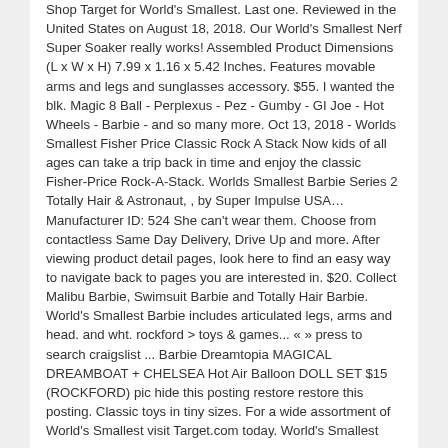Shop Target for World's Smallest. Last one. Reviewed in the United States on August 18, 2018. Our World's Smallest Nerf Super Soaker really works! Assembled Product Dimensions (L x W x H) 7.99 x 1.16 x 5.42 Inches. Features movable arms and legs and sunglasses accessory. $55. I wanted the blk. Magic 8 Ball - Perplexus - Pez - Gumby - GI Joe - Hot Wheels - Barbie - and so many more. Oct 13, 2018 - Worlds Smallest Fisher Price Classic Rock A Stack Now kids of all ages can take a trip back in time and enjoy the classic Fisher-Price Rock-A-Stack. Worlds Smallest Barbie Series 2 Totally Hair & Astronaut, , by Super Impulse USA… Manufacturer ID: 524 She can't wear them. Choose from contactless Same Day Delivery, Drive Up and more. After viewing product detail pages, look here to find an easy way to navigate back to pages you are interested in. $20. Collect Malibu Barbie, Swimsuit Barbie and Totally Hair Barbie. World's Smallest Barbie includes articulated legs, arms and head. and wht. rockford > toys & games... « » press to search craigslist ... Barbie Dreamtopia MAGICAL DREAMBOAT + CHELSEA Hot Air Balloon DOLL SET $15 (ROCKFORD) pic hide this posting restore restore this posting. Classic toys in tiny sizes. For a wide assortment of World's Smallest visit Target.com today. World's Smallest